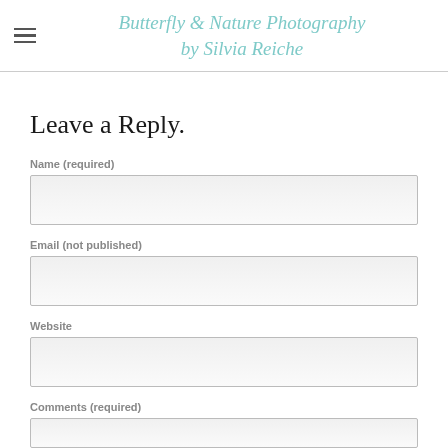Butterfly & Nature Photography by Silvia Reiche
Leave a Reply.
Name (required)
[Figure (other): Name input field (empty text box)]
Email (not published)
[Figure (other): Email input field (empty text box)]
Website
[Figure (other): Website input field (empty text box)]
Comments (required)
[Figure (other): Comments input field (empty text box, partially visible)]